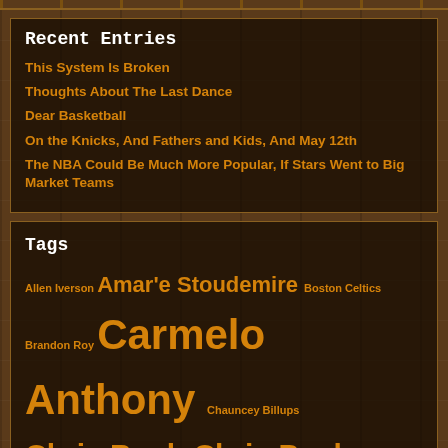Recent Entries
This System Is Broken
Thoughts About The Last Dance
Dear Basketball
On the Knicks, And Fathers and Kids, And May 12th
The NBA Could Be Much More Popular, If Stars Went to Big Market Teams
Tags
Allen Iverson Amar'e Stoudemire Boston Celtics Brandon Roy Carmelo Anthony Chauncey Billups Chris Bosh Chris Paul Cleveland Cavaliers Danilo Gallinari Denver Nuggets Deron Williams Derrick Rose Dirk Nowitzki Dwight Howard Dwyane Wade Isiah Thomas Jason Kidd Kevin D...